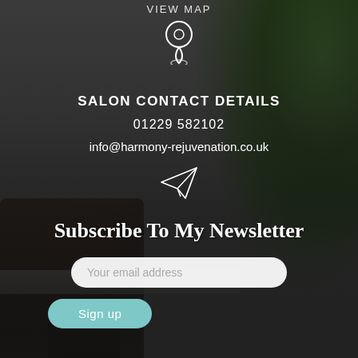VIEW MAP
[Figure (illustration): White outline location pin / map marker icon]
SALON CONTACT DETAILS
01229 582102
info@harmony-rejuvenation.co.uk
[Figure (illustration): White outline paper plane / send icon]
Subscribe To My Newsletter
Your email address
Sign up